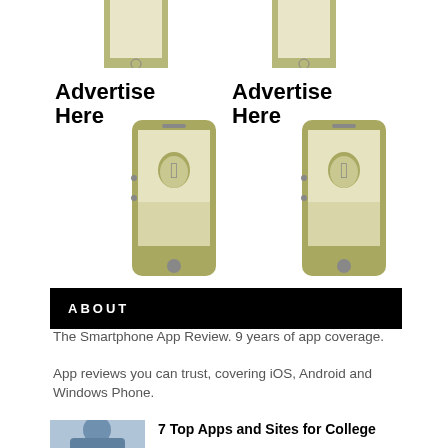[Figure (illustration): Two smartphone placeholder icons (top row, partial, cropped at top)]
[Figure (illustration): Left advertise here block with phone icon showing Apple logo]
Advertise Here
[Figure (illustration): Right advertise here block with phone icon showing Apple logo]
Advertise Here
ABOUT
The Smartphone App Review. 9 years of app coverage.
App reviews you can trust, covering iOS, Android and Windows Phone.
[Figure (photo): Person wearing backpack, college student]
7 Top Apps and Sites for College